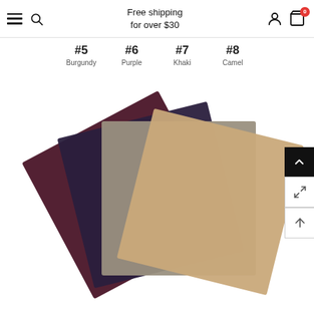Free shipping for over $30
#5 Burgundy   #6 Purple   #7 Khaki   #8 Camel
[Figure (photo): Four fabric swatches fanned out: Burgundy (#5), Purple (#6), Khaki (#7), Camel (#8)]